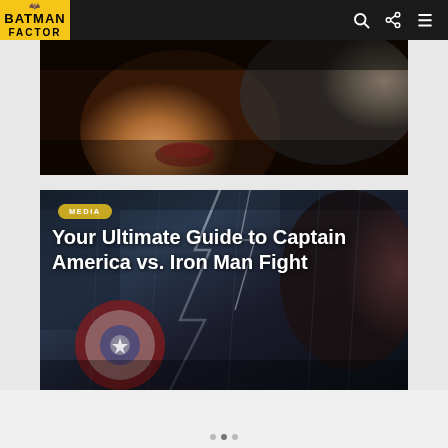Batman Factor — navigation bar with logo, search, share, and menu icons
[Figure (photo): Partial image cut off at top, showing a close-up of a character's face with warm orange and brown tones]
[Figure (photo): Comic-style illustration of Captain America vs. Iron Man fight scene with dark blue and red tones]
MEDIA
Your Ultimate Guide to Captain America vs. Iron Man Fight